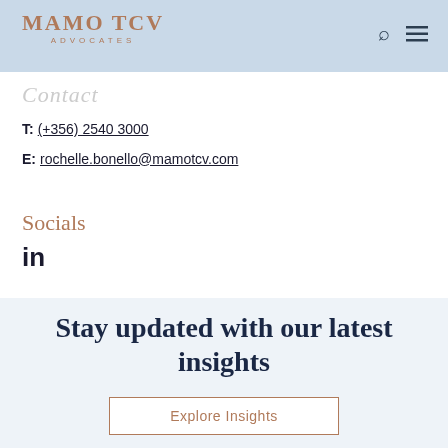MAMO TCV ADVOCATES
Contact
T: (+356) 2540 3000
E: rochelle.bonello@mamotcv.com
Socials
in
Stay updated with our latest insights
Explore Insights